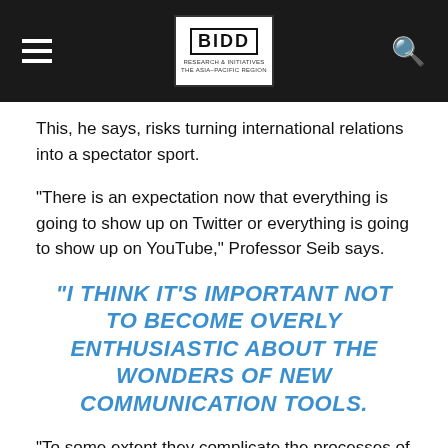BIDD [logo header]
This, he says, risks turning international relations into a spectator sport.
“There is an expectation now that everything is going to show up on Twitter or everything is going to show up on YouTube,” Professor Seib says.
“I THINK IT’S IMPORTANT NOT TO BECOME OVERLY ENTHUSIASTIC ABOUT THE WONDERS OF NEW COMMUNICATION TOOLS.
“To some extent they complicate the processes of diplomacy.
The Australian National University’s Rory Medcalf says we